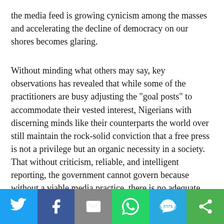the media feed is growing cynicism among the masses and accelerating the decline of democracy on our shores becomes glaring.
Without minding what others may say, key observations has revealed that while some of the practitioners are busy adjusting the "goal posts" to accommodate their vested interest, Nigerians with discerning minds like their counterparts the world over still maintain the rock-solid conviction that a free press is not a privilege but an organic necessity in a society. That without criticism, reliable, and intelligent reporting, the government cannot govern because without a viable media practice, there is no adequate way in which it can keep itself informed
[Figure (infographic): Social sharing bar with six buttons: Twitter (blue), Facebook (dark blue), Email (grey), WhatsApp (green), SMS (light blue), Share/other (green)]